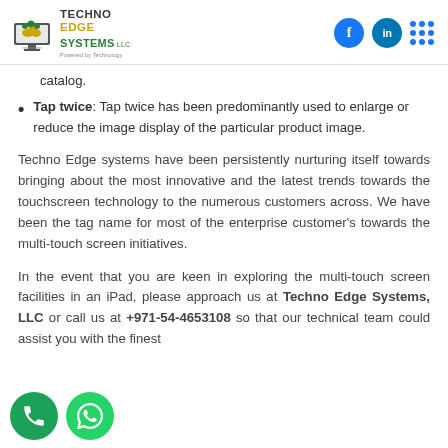Techno Edge Systems LLC
catalog.
Tap twice: Tap twice has been predominantly used to enlarge or reduce the image display of the particular product image.
Techno Edge systems have been persistently nurturing itself towards bringing about the most innovative and the latest trends towards the touchscreen technology to the numerous customers across. We have been the tag name for most of the enterprise customer's towards the multi-touch screen initiatives.
In the event that you are keen in exploring the multi-touch screen facilities in an iPad, please approach us at Techno Edge Systems, LLC or call us at +971-54-4653108 so that our technical team could assist you with the finest